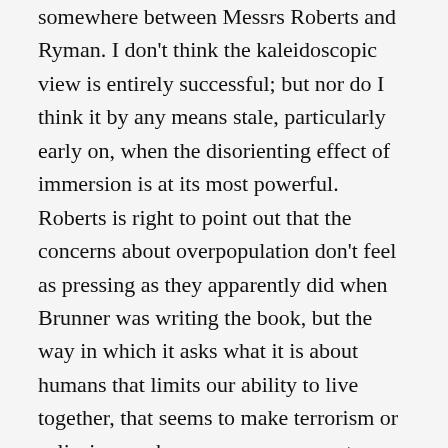somewhere between Messrs Roberts and Ryman. I don't think the kaleidoscopic view is entirely successful; but nor do I think it by any means stale, particularly early on, when the disorienting effect of immersion is at its most powerful. Roberts is right to point out that the concerns about overpopulation don't feel as pressing as they apparently did when Brunner was writing the book, but the way in which it asks what it is about humans that limits our ability to live together, that seems to make terrorism or solipsism such common responses to living in Brunner's future, chimed with me. It also seemed to me a novel provocative on the subject of racial issues and interactions (much more so, actually, than on gendered ones: take